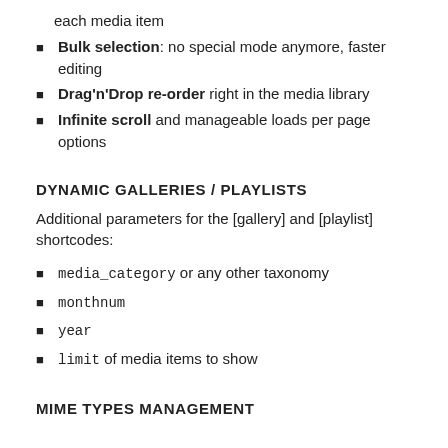each media item
Bulk selection: no special mode anymore, faster editing
Drag'n'Drop re-order right in the media library
Infinite scroll and manageable loads per page options
DYNAMIC GALLERIES / PLAYLISTS
Additional parameters for the [gallery] and [playlist] shortcodes:
media_category or any other taxonomy
monthnum
year
limit of media items to show
MIME TYPES MANAGEMENT